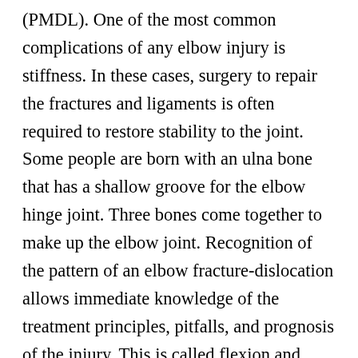(PMDL). One of the most common complications of any elbow injury is stiffness. In these cases, surgery to repair the fractures and ligaments is often required to restore stability to the joint. Some people are born with an ulna bone that has a shallow groove for the elbow hinge joint. Three bones come together to make up the elbow joint. Recognition of the pattern of an elbow fracture-dislocation allows immediate knowledge of the treatment principles, pitfalls, and prognosis of the injury. This is called flexion and extension, respectively. An elbow dislocation is treated by repositioning the bones. Typically patients are admitted to